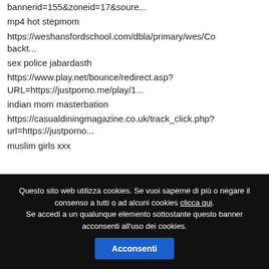bannerid=155&zoneid=17&soure...
mp4 hot stepmom
https://weshansfordschool.com/dbla/primary/wes/Co backt...
sex police jabardasth
https://www.play.net/bounce/redirect.asp?URL=https://justporno.me/play/1...
indian mom masterbation
https://casualdiningmagazine.co.uk/track_click.php?url=https://justporno...
muslim girls xxx
Questo sito web utilizza cookies. Se vuoi saperne di più o negare il consenso a tutti o ad alcuni cookies clicca qui. Se accedi a un qualunque elemento sottostante questo banner acconsenti all'uso dei cookies. Acconsenti